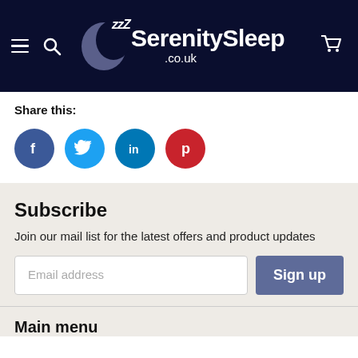[Figure (logo): SerenitySleep.co.uk logo with dark navy background, crescent moon graphic and zzz sleep icons, hamburger menu, search icon, and cart icon]
Share this:
[Figure (infographic): Four social media share buttons: Facebook (blue circle with f), Twitter (light blue circle with bird), LinkedIn (teal circle with in), Pinterest (red circle with p)]
Subscribe
Join our mail list for the latest offers and product updates
Email address
Sign up
Main menu